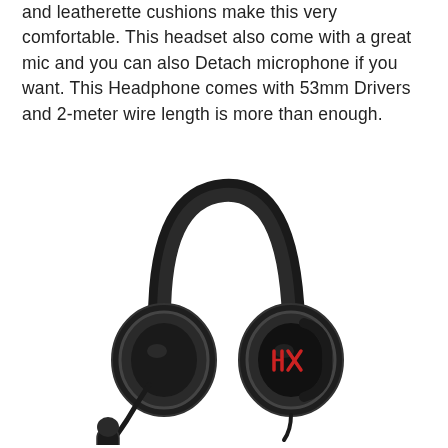and leatherette cushions make this very comfortable. This headset also come with a great mic and you can also Detach microphone if you want. This Headphone comes with 53mm Drivers and 2-meter wire length is more than enough.
[Figure (photo): HyperX Cloud gaming headset in black with red accents and HX logo on the earcup, with a detachable boom microphone, viewed from a slight angle.]